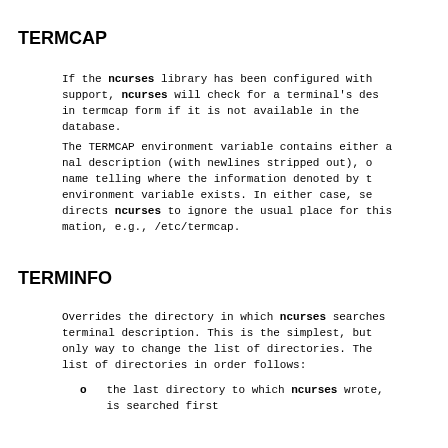TERMCAP
If the ncurses library has been configured with support, ncurses will check for a terminal's description in termcap form if it is not available in the database.
The TERMCAP environment variable contains either a terminal description (with newlines stripped out), or a name telling where the information denoted by the environment variable exists. In either case, setting it directs ncurses to ignore the usual place for this information, e.g., /etc/termcap.
TERMINFO
Overrides the directory in which ncurses searches for the terminal description. This is the simplest, but not the only way to change the list of directories. The complete list of directories in order follows:
o   the last directory to which ncurses wrote, is searched first